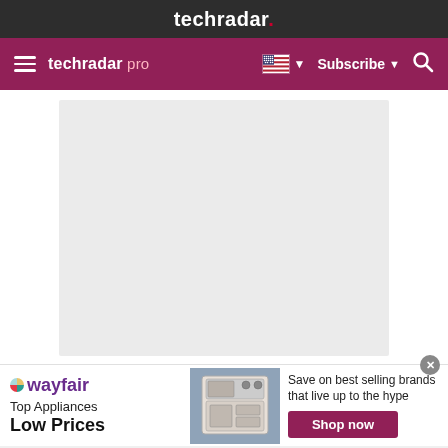techradar.
[Figure (screenshot): TechRadar Pro navigation bar with hamburger menu, techradar pro logo, US flag language selector, Subscribe button, and search icon on purple background]
[Figure (other): Large light gray placeholder/advertisement box in the main content area]
[Figure (other): Wayfair advertisement banner: Top Appliances Low Prices, with Wayfair logo, appliance image, and Shop now button]